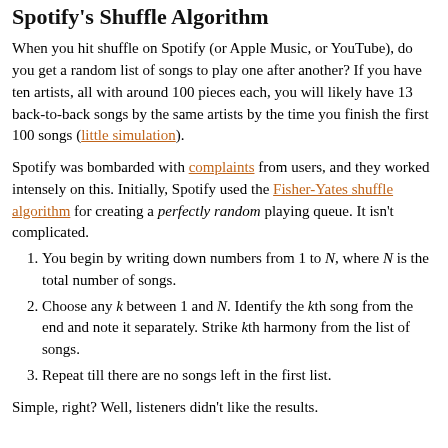Spotify's Shuffle Algorithm
When you hit shuffle on Spotify (or Apple Music, or YouTube), do you get a random list of songs to play one after another? If you have ten artists, all with around 100 pieces each, you will likely have 13 back-to-back songs by the same artists by the time you finish the first 100 songs (little simulation).
Spotify was bombarded with complaints from users, and they worked intensely on this. Initially, Spotify used the Fisher-Yates shuffle algorithm for creating a perfectly random playing queue. It isn't complicated.
You begin by writing down numbers from 1 to N, where N is the total number of songs.
Choose any k between 1 and N. Identify the kth song from the end and note it separately. Strike kth harmony from the list of songs.
Repeat till there are no songs left in the first list.
Simple, right? Well, listeners didn't like the results.